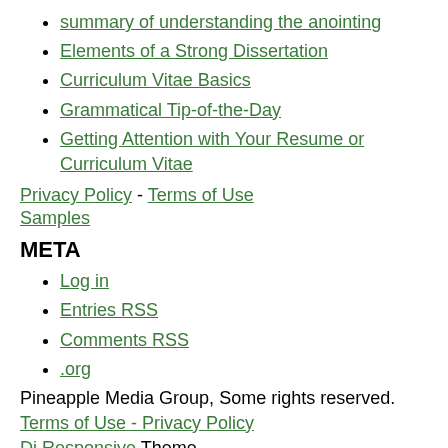summary of understanding the anointing
Elements of a Strong Dissertation
Curriculum Vitae Basics
Grammatical Tip-of-the-Day
Getting Attention with Your Resume or Curriculum Vitae
Privacy Policy - Terms of Use
Samples
META
Log in
Entries RSS
Comments RSS
.org
Pineapple Media Group, Some rights reserved.
Terms of Use - Privacy Policy
Di Responsive Theme